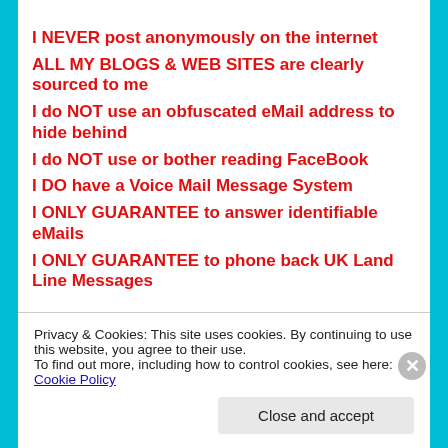I NEVER post anonymously on the internet
ALL MY BLOGS & WEB SITES are clearly sourced to me
I do NOT use an obfuscated eMail address to hide behind
I do NOT use or bother reading FaceBook
I DO have a Voice Mail Message System
I ONLY GUARANTEE to answer identifiable eMails
I ONLY GUARANTEE to phone back UK Land Line Messages
Privacy & Cookies: This site uses cookies. By continuing to use this website, you agree to their use.
To find out more, including how to control cookies, see here: Cookie Policy